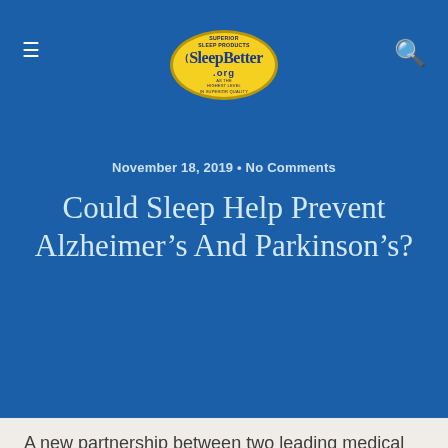SleepBetter.org
November 18, 2019 • No Comments
Could Sleep Help Prevent Alzheimer's And Parkinson's?
A new partnership between two leading medical research charities has launched today to explore how improving the brain's waste disposal system could be the key to preventing Parkinson's and Alzheimer's disease.
The glymphatic system, a recently discovered brain-wide pathway, works to remove waste products from the brain. Parkinson's UK and Alzheimer's Research UK have teamed